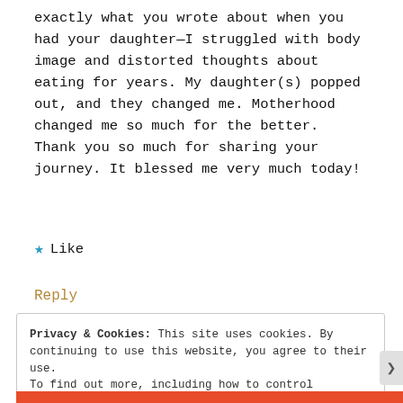exactly what you wrote about when you had your daughter—I struggled with body image and distorted thoughts about eating for years. My daughter(s) popped out, and they changed me. Motherhood changed me so much for the better. Thank you so much for sharing your journey. It blessed me very much today!
★ Like
Reply
Privacy & Cookies: This site uses cookies. By continuing to use this website, you agree to their use.
To find out more, including how to control cookies, see here:
Cookie Policy
Close and accept